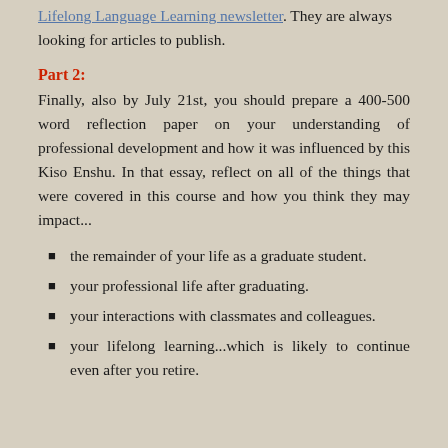Lifelong Language Learning newsletter. They are always looking for articles to publish.
Part 2:
Finally, also by July 21st, you should prepare a 400-500 word reflection paper on your understanding of professional development and how it was influenced by this Kiso Enshu. In that essay, reflect on all of the things that were covered in this course and how you think they may impact...
the remainder of your life as a graduate student.
your professional life after graduating.
your interactions with classmates and colleagues.
your lifelong learning...which is likely to continue even after you retire.